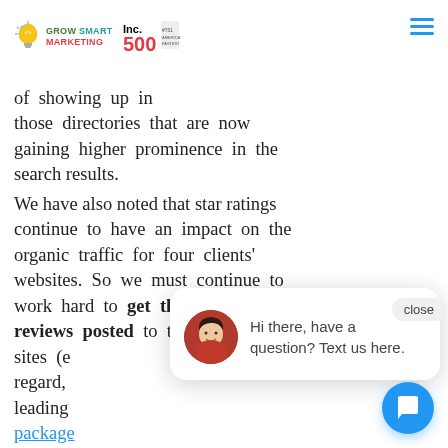Grow Smart Marketing | Inc. 500
accurate and optimized to give them of showing up in those directories that are now gaining higher prominence in the search results.
We have also noted that star ratings continue to have an impact on the organic traffic for four clients' websites. So we must continue to work hard to get those online reviews posted to the major review sites (e... regard, leading package... considerable advantage over their competition.
Finally, as fewer 7 Pack listings show up in the search results, it becomes
[Figure (screenshot): Chat popup with avatar and message: Hi there, have a question? Text us here. With a close button and chat bubble button.]